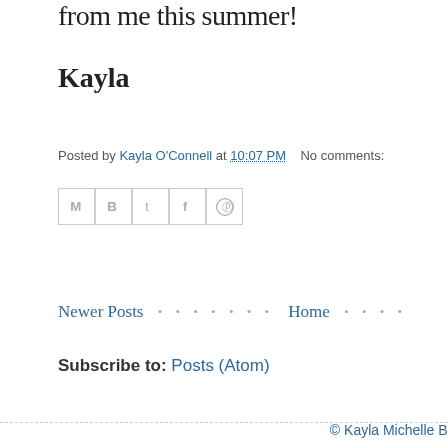from me this summer!
Kayla
Posted by Kayla O'Connell at 10:07 PM   No comments:
[Figure (other): Social sharing icons: Email (M), Blogger (B), Twitter (t), Facebook (f), Pinterest (circle with P)]
Newer Posts · · · · · · · Home · · · ·
Subscribe to: Posts (Atom)
© Kayla Michelle Bro